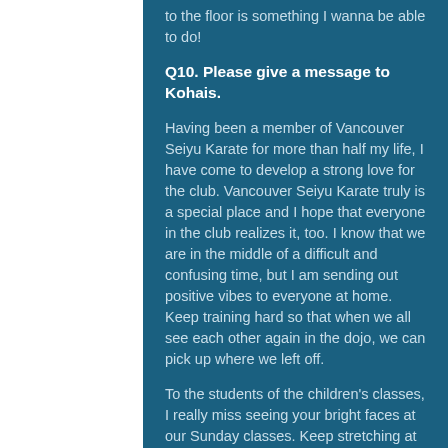to the floor is something I wanna be able to do!
Q10. Please give a message to Kohais.
Having been a member of Vancouver Seiyu Karate for more than half my life, I have come to develop a strong love for the club. Vancouver Seiyu Karate truly is a special place and I hope that everyone in the club realizes it, too. I know that we are in the middle of a difficult and confusing time, but I am sending out positive vibes to everyone at home. Keep training hard so that when we all see each other again in the dojo, we can pick up where we left off.
To the students of the children's classes, I really miss seeing your bright faces at our Sunday classes. Keep stretching at home so you don't end up like me, and don't forget how to tie your belts! See you all real soon! OSU!